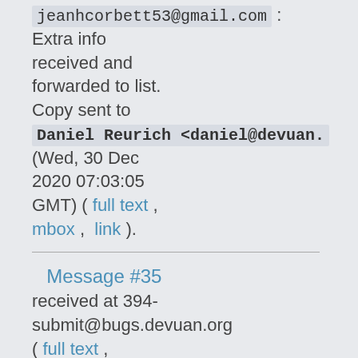jeanhcorbett53@gmail.com : Extra info received and forwarded to list. Copy sent to Daniel Reurich <daniel@devuan. (Wed, 30 Dec 2020 07:03:05 GMT) ( full text , mbox , link ).
Message #35 received at 394-submit@bugs.devuan.org ( full text , mbox , reply ):